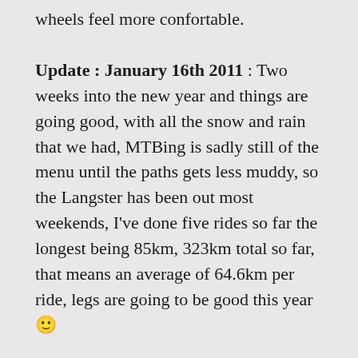wheels feel more confortable.
Update : January 16th 2011 : Two weeks into the new year and things are going good, with all the snow and rain that we had, MTBing is sadly still of the menu until the paths gets less muddy, so the Langster has been out most weekends, I've done five rides so far the longest being 85km, 323km total so far, that means an average of 64.6km per ride, legs are going to be good this year 🙂
Also I've changed the handlebars and brakes again, the profile bars were to long, making me reach to far, so I cut down the original bars and turned them upside down, as I couldn't fit the